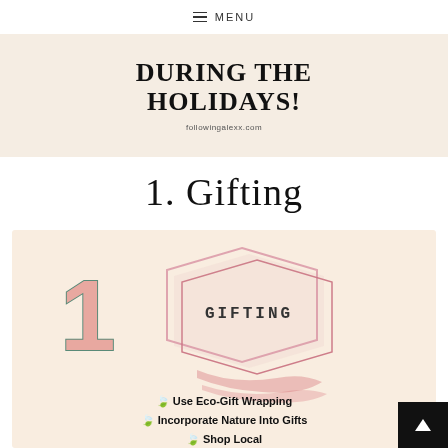MENU
[Figure (infographic): Banner with bold serif text reading 'DURING THE HOLIDAYS!' on a cream/beige background with URL followingalexx.com]
1. Gifting
[Figure (infographic): Cream-colored card with large pink number '1', overlapping hexagons outline in rose/pink with 'GIFTING' text inside, decorative pink brush stroke, and list items: Use Eco-Gift Wrapping, Incorporate Nature Into Gifts, Shop Local]
Use Eco-Gift Wrapping
Incorporate Nature Into Gifts
Shop Local